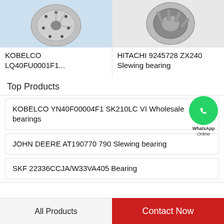[Figure (photo): Photo of a disc brake rotor (KOBELCO product), light blue background]
KOBELCO LQ40FU0001F1...
[Figure (photo): Photo of a tapered roller bearing (HITACHI product), grey background]
HITACHI 9245728 ZX240 Slewing bearing
Top Products
KOBELCO YN40F00004F1 SK210LC VI Wholesale bearings
JOHN DEERE AT190770 790 Slewing bearing
SKF 22336CCJA/W33VA405 Bearing
[Figure (other): WhatsApp Online green circle icon with phone handset, labeled WhatsApp Online]
All Products
Contact Now